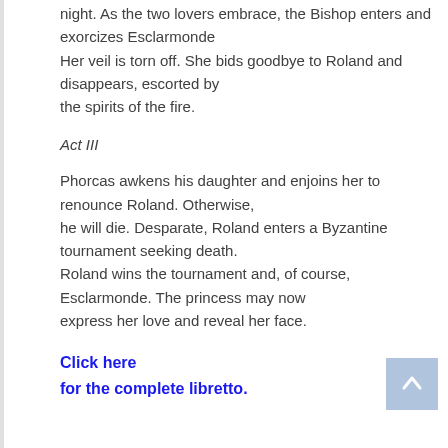night. As the two lovers embrace, the Bishop enters and exorcizes Esclarmonde
Her veil is torn off. She bids goodbye to Roland and disappears, escorted by
the spirits of the fire.
Act III
Phorcas awkens his daughter and enjoins her to renounce Roland. Otherwise,
he will die. Desparate, Roland enters a Byzantine tournament seeking death.
Roland wins the tournament and, of course, Esclarmonde. The princess may now
express her love and reveal her face.
Click here
for the complete libretto.